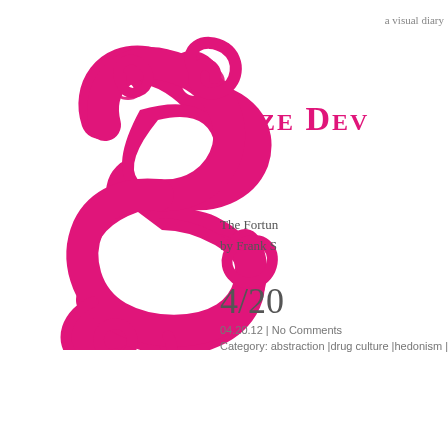a visual diary
Seze Dev
[Figure (illustration): Decorative magenta/pink swirling S-shaped flourish or ornamental typographic character with curling spirals and scrollwork]
The Fortun by Frank S
4/20
04.20.12 | No Comments
Category: abstraction |drug culture |hedonism |his